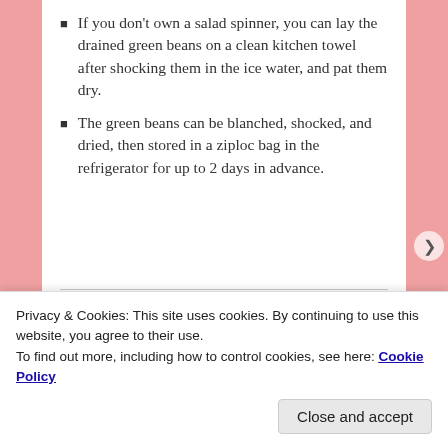If you don't own a salad spinner, you can lay the drained green beans on a clean kitchen towel after shocking them in the ice water, and pat them dry.
The green beans can be blanched, shocked, and dried, then stored in a ziploc bag in the refrigerator for up to 2 days in advance.
SHARE THIS:
Privacy & Cookies: This site uses cookies. By continuing to use this website, you agree to their use.
To find out more, including how to control cookies, see here: Cookie Policy